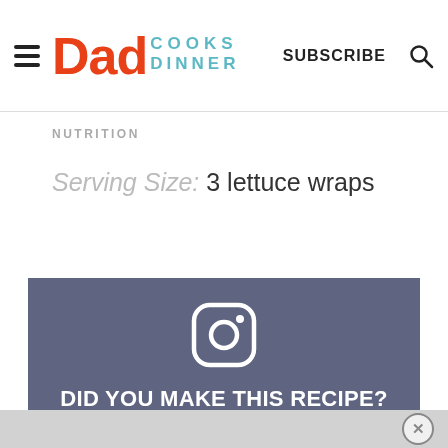Dad Cooks Dinner | SUBSCRIBE
NUTRITION
Serving Size: 3 lettuce wraps
[Figure (logo): Instagram camera icon in white on grey/slate background]
DID YOU MAKE THIS RECIPE?
Tag @DadCooksDinner on Instagram and hashtag it #DadCooksDinner